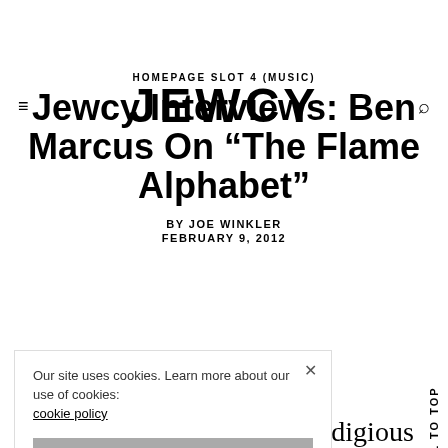JEWCY
HOMEPAGE SLOT 4 (MUSIC)
Jewcy Interviews: Ben Marcus On “The Flame Alphabet”
BY JOE WINKLER
FEBRUARY 9, 2012
Our site uses cookies. Learn more about our use of cookies: cookie policy
I ACCEPT USE OF COOKIES
rodigious
st splash
evious
Scroll To Top